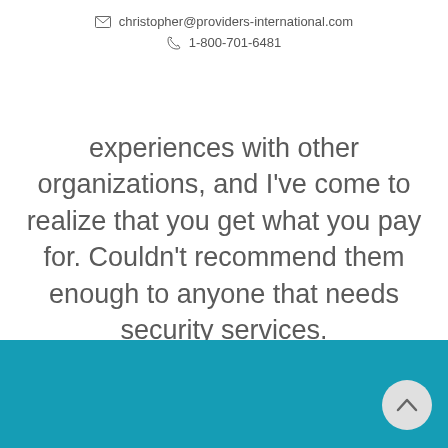christopher@providers-international.com
1-800-701-6481
experiences with other organizations, and I've come to realize that you get what you pay for. Couldn't recommend them enough to anyone that needs security services.
[Figure (other): Carousel pagination dots — 7 dots, first one active (blue), rest grey]
[Figure (other): Teal footer bar with a circular back-to-top button (arrow up) in the bottom right]